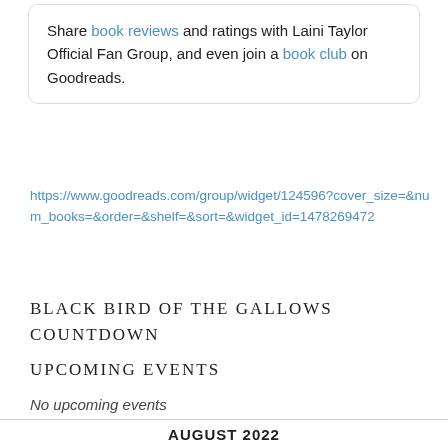Share book reviews and ratings with Laini Taylor Official Fan Group, and even join a book club on Goodreads.
https://www.goodreads.com/group/widget/124596?cover_size=&num_books=&order=&shelf=&sort=&widget_id=1478269472
BLACK BIRD OF THE GALLOWS COUNTDOWN
UPCOMING EVENTS
No upcoming events
AUGUST 2022